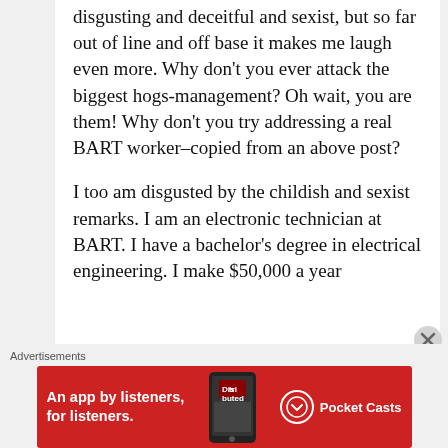…and won't fool you. Bullying and disgusting and deceitful and sexist, but so far out of line and off base it makes me laugh even more. Why don't you ever attack the biggest hogs-management? Oh wait, you are them! Why don't you try addressing a real BART worker–copied from an above post?
I too am disgusted by the childish and sexist remarks. I am an electronic technician at BART. I have a bachelor's degree in electrical engineering. I make $50,000 a year…
Advertisements
[Figure (other): Red advertisement banner for Pocket Casts app: 'An app by listeners, for listeners.' with phone graphic and Pocket Casts logo]